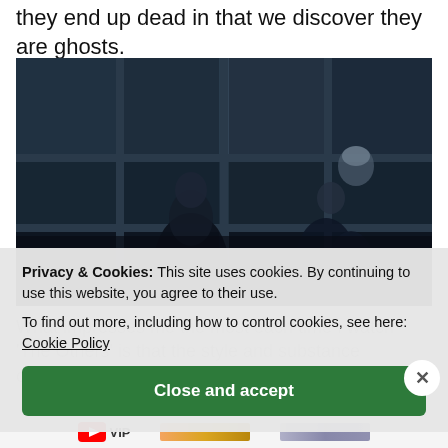they end up dead in that we discover they are ghosts.
[Figure (photo): Dark, moody still from a film showing two shadowy figures standing in front of large grid-paned windows in dim, blue-grey light. The scene is very dark with a cold, atmospheric tone.]
Privacy & Cookies: This site uses cookies. By continuing to use this website, you agree to their use.
To find out more, including how to control cookies, see here: Cookie Policy
Close and accept
What impresses me the most each time I watch 'The Others' is that the style and substance complement